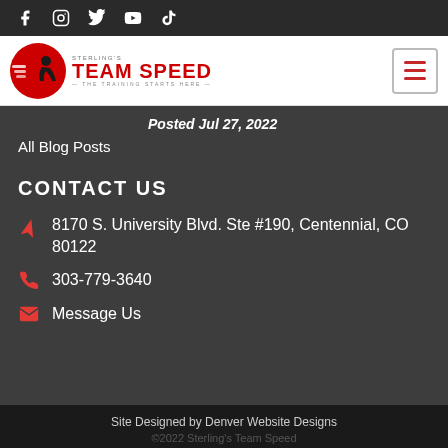Social media icons: Facebook, Instagram, Twitter, YouTube, TikTok
[Figure (logo): Sterling's Team Speed logo with red circle icon and runner silhouette, red bold text TEAM SPEED, tagline THE TRAINING STARTS HERE]
Posted Jul 27, 2022
All Blog Posts
CONTACT US
8170 S. University Blvd. Ste #190, Centennial, CO 80122
303-779-3640
Message Us
Site Designed by Denver Website Designs
©2022 Sterling's Team Speed